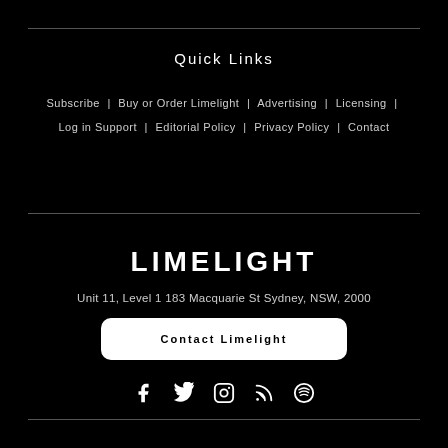Quick Links
Subscribe  |  Buy or Order Limelight  |  Advertising  |  Licensing  |  Log in Support  |  Editorial Policy  |  Privacy Policy  |  Contact
[Figure (logo): LIMELIGHT text logo in bold white uppercase letters]
Unit 11, Level 1 183 Macquarie St Sydney, NSW, 2000
Contact Limelight
[Figure (infographic): Social media icons: Facebook, Twitter, Instagram, RSS, Spotify]